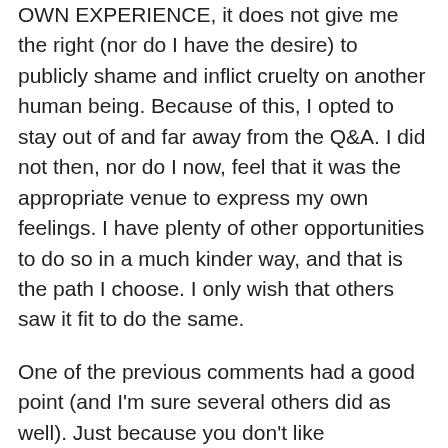OWN EXPERIENCE, it does not give me the right (nor do I have the desire) to publicly shame and inflict cruelty on another human being. Because of this, I opted to stay out of and far away from the Q&A. I did not then, nor do I now, feel that it was the appropriate venue to express my own feelings. I have plenty of other opportunities to do so in a much kinder way, and that is the path I choose. I only wish that others saw it fit to do the same.
One of the previous comments had a good point (and I'm sure several others did as well). Just because you don't like something, it doesn't mean you have the right to expose everyone else participating to the hateful garbage I saw in